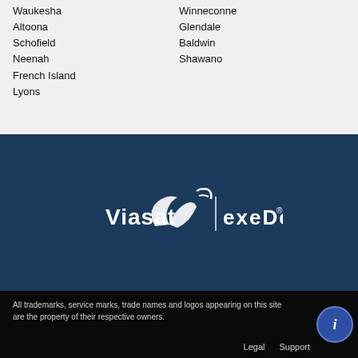Waukesha
Altoona
Schofield
Neenah
French Island
Lyons
Winneconne
Glendale
Baldwin
Shawano
[Figure (logo): Viasat with satellite dish icon and Exede logo in white on dark blue background]
All trademarks, service marks, trade names and logos appearing on this site are the property of their respective owners. Legal Support